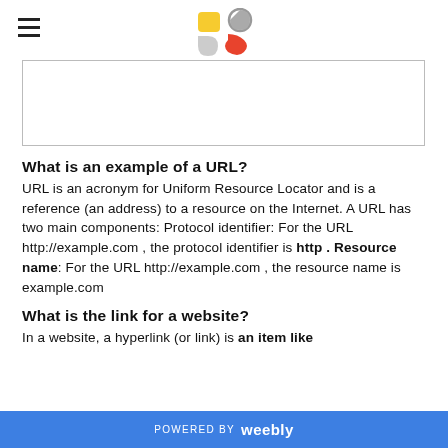Weebly site header with hamburger menu and logo
[Figure (other): Empty white rectangle with gray border (image placeholder)]
What is an example of a URL?
URL is an acronym for Uniform Resource Locator and is a reference (an address) to a resource on the Internet. A URL has two main components: Protocol identifier: For the URL http://example.com , the protocol identifier is http . Resource name: For the URL http://example.com , the resource name is example.com
What is the link for a website?
In a website, a hyperlink (or link) is an item like
POWERED BY weebly